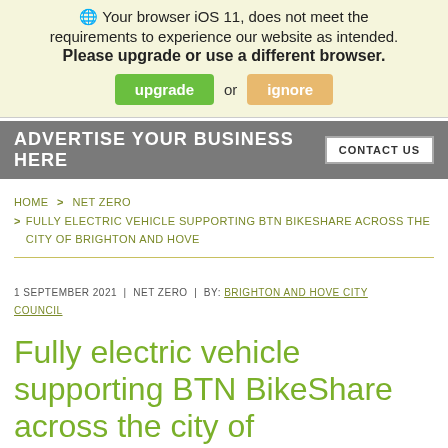Your browser iOS 11, does not meet the requirements to experience our website as intended. Please upgrade or use a different browser. upgrade or ignore
[Figure (screenshot): Gray advertisement banner reading 'ADVERTISE YOUR BUSINESS HERE' with a 'CONTACT US' button on the right]
HOME > NET ZERO > FULLY ELECTRIC VEHICLE SUPPORTING BTN BIKESHARE ACROSS THE CITY OF BRIGHTON AND HOVE
1 SEPTEMBER 2021 | NET ZERO | BY: BRIGHTON AND HOVE CITY COUNCIL
Fully electric vehicle supporting BTN BikeShare across the city of